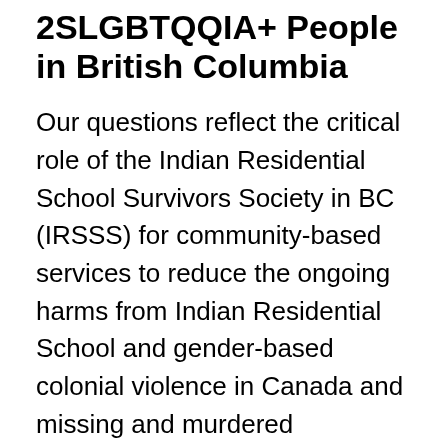2SLGBTQQIA+ People in British Columbia
Our questions reflect the critical role of the Indian Residential School Survivors Society in BC (IRSSS) for community-based services to reduce the ongoing harms from Indian Residential School and gender-based colonial violence in Canada and missing and murdered Indigenous women (MMIWG). Our health-related questions will help IRSSS show the impact of IRSSS-MMIWG programming currently being implemented, identify related programming facilitators, barriers, strengths, and gaps for cultural support, healing, wellness, justice and